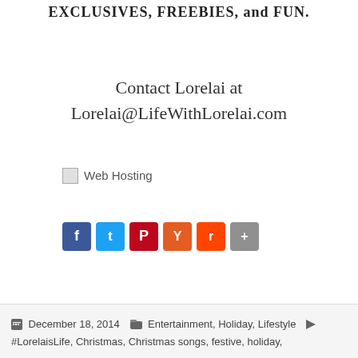EXCLUSIVES, FREEBIES, and FUN.
Contact Lorelai at Lorelai@LifeWithLorelai.com
[Figure (other): Web Hosting broken image placeholder]
[Figure (other): Social sharing buttons: Facebook, Twitter, Pinterest, Yummly, Reddit, Share]
December 18, 2014  Entertainment, Holiday, Lifestyle  #LorelaisLife, Christmas, Christmas songs, festive, holiday,